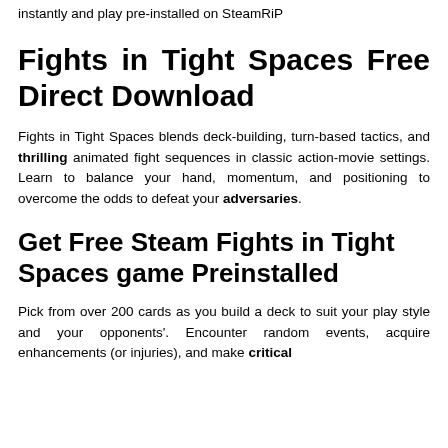instantly and play pre-installed on SteamRiP
Fights in Tight Spaces Free Direct Download
Fights in Tight Spaces blends deck-building, turn-based tactics, and thrilling animated fight sequences in classic action-movie settings. Learn to balance your hand, momentum, and positioning to overcome the odds to defeat your adversaries.
Get Free Steam Fights in Tight Spaces game Preinstalled
Pick from over 200 cards as you build a deck to suit your play style and your opponents'. Encounter random events, acquire enhancements (or injuries), and make critical